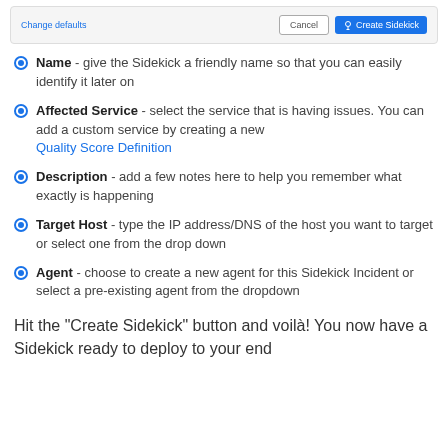[Figure (screenshot): UI dialog top bar with 'Change defaults' link and Cancel / Create Sidekick buttons]
Name - give the Sidekick a friendly name so that you can easily identify it later on
Affected Service - select the service that is having issues. You can add a custom service by creating a new Quality Score Definition
Description - add a few notes here to help you remember what exactly is happening
Target Host - type the IP address/DNS of the host you want to target or select one from the drop down
Agent - choose to create a new agent for this Sidekick Incident or select a pre-existing agent from the dropdown
Hit the "Create Sidekick" button and voilà! You now have a Sidekick ready to deploy to your end